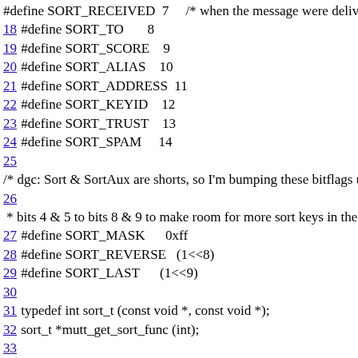#define SORT_RECEIVED  7     /* when the message were delive...
18 #define SORT_TO       8
19 #define SORT_SCORE    9
20 #define SORT_ALIAS    10
21 #define SORT_ADDRESS  11
22 #define SORT_KEYID    12
23 #define SORT_TRUST    13
24 #define SORT_SPAM     14
25
/* dgc: Sort & SortAux are shorts, so I'm bumping these bitflags up f...
26
* bits 4 & 5 to bits 8 & 9 to make room for more sort keys in the fut...
27 #define SORT_MASK      0xff
28 #define SORT_REVERSE   (1<<8)
29 #define SORT_LAST      (1<<9)
30
31 typedef int sort_t (const void *, const void *);
32 sort_t *mutt_get_sort_func (int);
33
34 void mutt_sort_headers (CONTEXT *, int);
35 int mutt_select_sort (int);
36
37 WHERE short BrowserSort INITVAL (SORT_SUBJECT);
38 WHERE short Sort INITVAL (SORT_DATE);
39